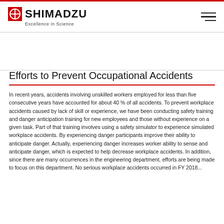SHIMADZU Excellence in Science
Efforts to Prevent Occupational Accidents
In recent years, accidents involving unskilled workers employed for less than five consecutive years have accounted for about 40 % of all accidents. To prevent workplace accidents caused by lack of skill or experience, we have been conducting safety training and danger anticipation training for new employees and those without experience on a given task. Part of that training involves using a safety simulator to experience simulated workplace accidents. By experiencing danger participants improve their ability to anticipate danger. Actually, experiencing danger increases worker ability to sense and anticipate danger, which is expected to help decrease workplace accidents. In addition, since there are many occurrences in the engineering department, efforts are being made to focus on this department. No serious workplace accidents occurred in FY 2018...